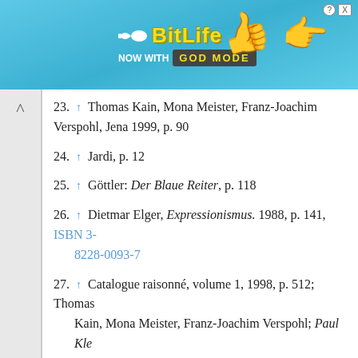[Figure (illustration): BitLife advertisement banner showing 'BitLife NOW WITH GOD MODE' text with sperm logo, lightning bolt, thumbs up and pointing hand graphics on a blue background]
23. ↑ Thomas Kain, Mona Meister, Franz-Joachim Verspohl, Jena 1999, p. 90
24. ↑ Jardi, p. 12
25. ↑ Göttler: Der Blaue Reiter, p. 118
26. ↑ Dietmar Elger, Expressionismus. 1988, p. 141, ISBN 3-8228-0093-7
27. ↑ Catalogue raisonné, volume 1, 1998, p. 512; Thomas Kain, Mona Meister, Franz-Joachim Verspohl; Paul Kle in Jena 1924. Der Vortrag. Minerva. Writings from Jena to Art History, volume 10, art history seminar, Jenoptik AG, print house Gera, Jena 1999, p. 92